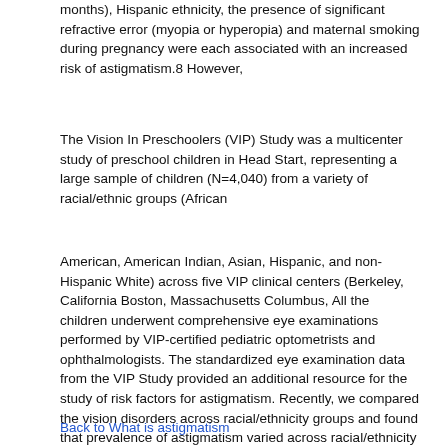months), Hispanic ethnicity, the presence of significant refractive error (myopia or hyperopia) and maternal smoking during pregnancy were each associated with an increased risk of astigmatism.8 However,
The Vision In Preschoolers (VIP) Study was a multicenter study of preschool children in Head Start, representing a large sample of children (N=4,040) from a variety of racial/ethnic groups (African
American, American Indian, Asian, Hispanic, and non-Hispanic White) across five VIP clinical centers (Berkeley, California Boston, Massachusetts Columbus, All the children underwent comprehensive eye examinations performed by VIP-certified pediatric optometrists and ophthalmologists. The standardized eye examination data from the VIP Study provided an additional resource for the study of risk factors for astigmatism. Recently, we compared the vision disorders across racial/ethnicity groups and found that prevalence of astigmatism varied across racial/ethnicity groups with the lowest prevalence rate in American Indian (4.3%) and highest in Hispanic children (11.1%). 9 However, this study did not evaluate other risk factors for astigmatism. The purpose of this study was to determine whether the demographic and ocular risk factors for astigmatism identified from the MEPEDS and BPEDS 8 were also associated with astigmatism in the VIP Study participants from disparate racial/ethnic groups.
Back to What is astigmatism